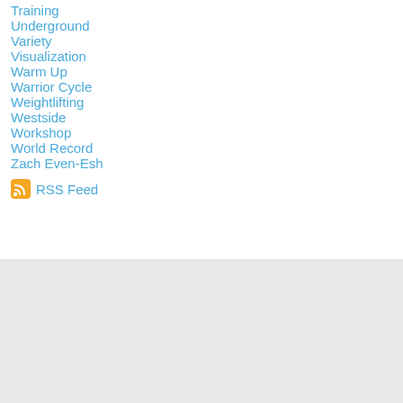Training
Underground
Variety
Visualization
Warm Up
Warrior Cycle
Weightlifting
Westside
Workshop
World Record
Zach Even-Esh
RSS Feed